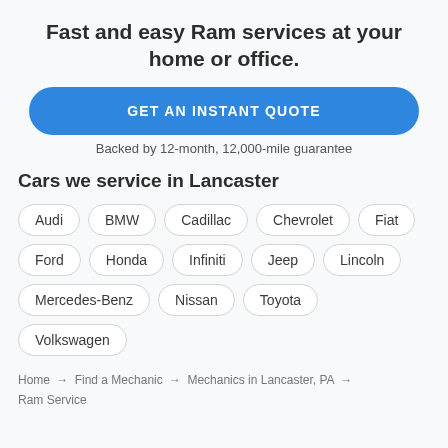Fast and easy Ram services at your home or office.
[Figure (other): Blue rounded button labeled GET AN INSTANT QUOTE]
Backed by 12-month, 12,000-mile guarantee
Cars we service in Lancaster
Audi
BMW
Cadillac
Chevrolet
Fiat
Ford
Honda
Infiniti
Jeep
Lincoln
Mercedes-Benz
Nissan
Toyota
Volkswagen
Home → Find a Mechanic → Mechanics in Lancaster, PA → Ram Service